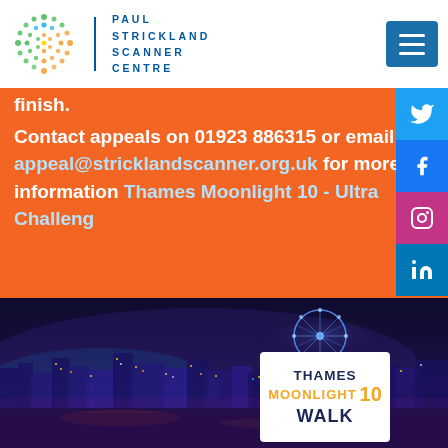[Figure (logo): Paul Strickland Scanner Centre logo with colourful dots circle and text]
finish.
Contact appeals on 01923 886315 or email appeal@stricklandscanner.org.uk for more information Thames Moonlight 10 - Ultra Challenge
[Figure (photo): Night aerial cityscape of London with the London Eye and city lights visible, with Thames Moonlight 10 Walk badge overlay]